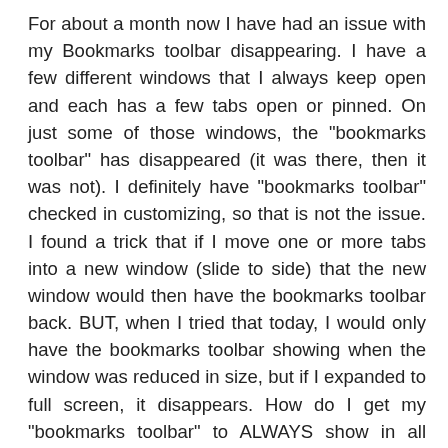For about a month now I have had an issue with my Bookmarks toolbar disappearing. I have a few different windows that I always keep open and each has a few tabs open or pinned. On just some of those windows, the "bookmarks toolbar" has disappeared (it was there, then it was not). I definitely have "bookmarks toolbar" checked in customizing, so that is not the issue. I found a trick that if I move one or more tabs into a new window (slide to side) that the new window would then have the bookmarks toolbar back. BUT, when I tried that today, I would only have the bookmarks toolbar showing when the window was reduced in size, but if I expanded to full screen, it disappears. How do I get my "bookmarks toolbar" to ALWAYS show in all windows? The only thing that I have changed in my behavior is that I now keep several tabs pinned... wondering if somehow that is causing problems? Please note, I have tried resetting customizing and rechecking "bookmarks toolbar" but that has not